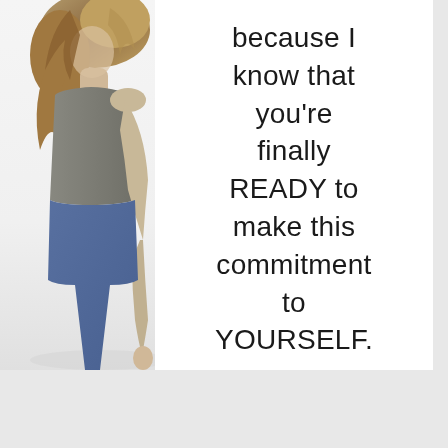[Figure (photo): A woman photographed from behind/side, wearing a grey tank top and blue jeans, with light brown wavy hair, standing against a white background. Only the left portion of her body is visible.]
because I know that you're finally READY to make this commitment to YOURSELF.